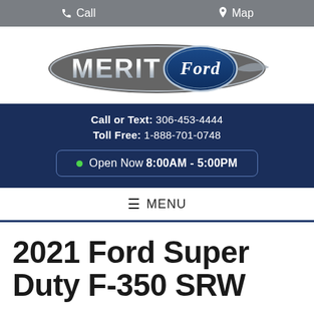Call | Map
[Figure (logo): Merit Ford dealership logo — chrome MERIT text with Ford oval badge on grey swoosh background]
Call or Text: 306-453-4444
Toll Free: 1-888-701-0748
Open Now 8:00AM - 5:00PM
≡ MENU
2021 Ford Super Duty F-350 SRW